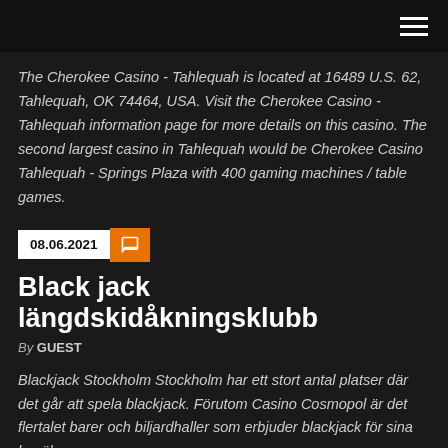The Cherokee Casino - Tahlequah is located at 16489 U.S. 62, Tahlequah, OK 74464, USA. Visit the Cherokee Casino - Tahlequah information page for more details on this casino. The second largest casino in Tahlequah would be Cherokee Casino Tahlequah - Springs Plaza with 400 gaming machines / table games.
08.06.2021
Black jack längdskidåkningsklubb
By GUEST
Blackjack Stockholm Stockholm har ett stort antal platser där det går att spela blackjack. Förutom Casino Cosmopol är det flertalet barer och biljardhaller som erbjuder blackjack för sina besökare.